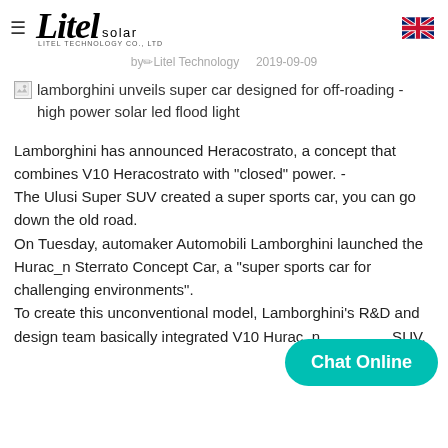Litel solar — LITEL TECHNOLOGY CO., LTD
by Litel Technology    2019-09-09
[Figure (illustration): Broken image placeholder for: lamborghini unveils super car designed for off-roading - high power solar led flood light]
Lamborghini has announced Heracostrato, a concept that combines V10 Heracostrato with "closed" power. -
The Ulusi Super SUV created a super sports car, you can go down the old road.
On Tuesday, automaker Automobili Lamborghini launched the Hurac_n Sterrato Concept Car, a "super sports car for challenging environments".
To create this unconventional model, Lamborghini's R&D and design team basically integrated V10 Hurac_n … SUV.
Chat Online